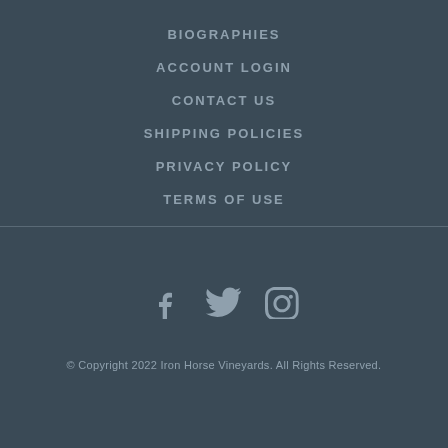BIOGRAPHIES
ACCOUNT LOGIN
CONTACT US
SHIPPING POLICIES
PRIVACY POLICY
TERMS OF USE
[Figure (illustration): Social media icons: Facebook, Twitter, Instagram]
© Copyright 2022 Iron Horse Vineyards. All Rights Reserved.